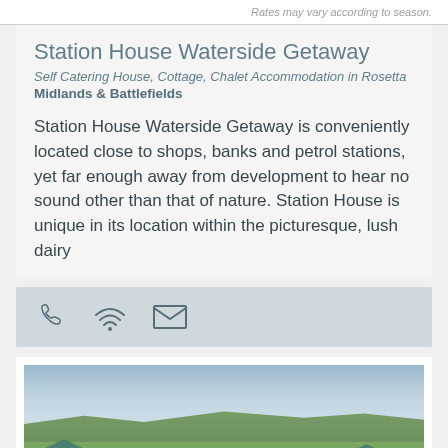Rates may vary according to season.
Station House Waterside Getaway
Self Catering House, Cottage, Chalet Accommodation in Rosetta
Midlands & Battlefields
Station House Waterside Getaway is conveniently located close to shops, banks and petrol stations, yet far enough away from development to hear no sound other than that of nature. Station House is unique in its location within the picturesque, lush dairy
[Figure (infographic): Contact icons: phone, wifi, and email/envelope icons on a grey bar]
[Figure (photo): Aerial landscape photo showing Station House buildings with green corrugated roof surrounded by lush green fields and hills under overcast sky in Rosetta, South Africa]